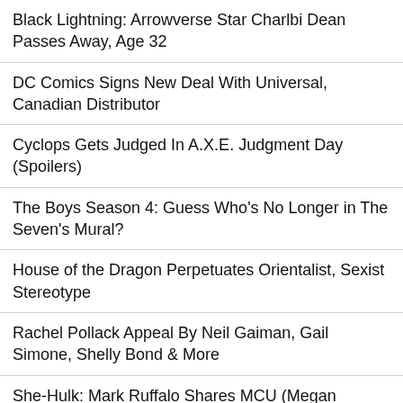Black Lightning: Arrowverse Star Charlbi Dean Passes Away, Age 32
DC Comics Signs New Deal With Universal, Canadian Distributor
Cyclops Gets Judged In A.X.E. Judgment Day (Spoilers)
The Boys Season 4: Guess Who's No Longer in The Seven's Mural?
House of the Dragon Perpetuates Orientalist, Sexist Stereotype
Rachel Pollack Appeal By Neil Gaiman, Gail Simone, Shelly Bond & More
She-Hulk: Mark Ruffalo Shares MCU (Megan Cinematic Universe) Audition
A "Recognisable Marvel Entity" Is Behind All-Out Avengers
[Figure (other): Gray placeholder block at bottom of page]